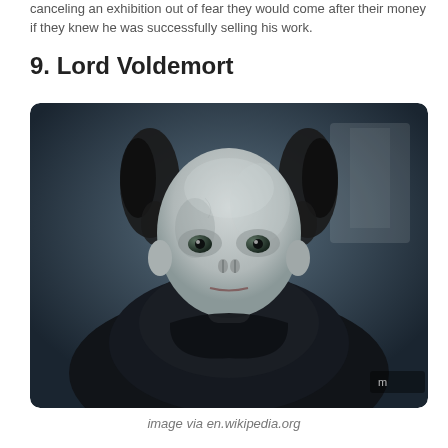canceling an exhibition out of fear they would come after their money if they knew he was successfully selling his work.
9. Lord Voldemort
[Figure (photo): A photo of Lord Voldemort character from Harry Potter — a bald, pale, snake-like villain seated in a dark ornate chair, wearing dark robes, staring directly at the camera.]
image via en.wikipedia.org